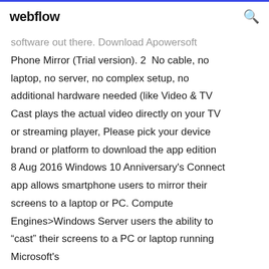webflow
software out there. Download Apowersoft Phone Mirror (Trial version). 2  No cable, no laptop, no server, no complex setup, no additional hardware needed (like Video & TV Cast plays the actual video directly on your TV or streaming player, Please pick your device brand or platform to download the app edition 8 Aug 2016 Windows 10 Anniversary's Connect app allows smartphone users to mirror their screens to a laptop or PC. Compute Engines>Windows Server users the ability to “cast” their screens to a PC or laptop running Microsoft's
Server Cast allows you to cast